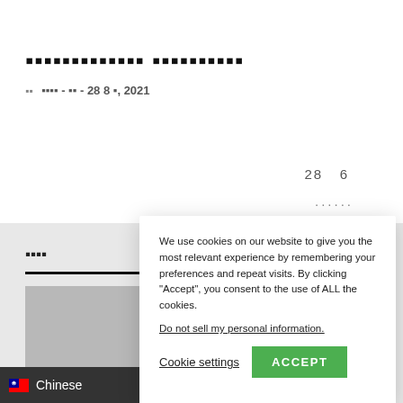▪▪▪▪▪▪▪▪▪▪▪▪▪ ▪▪▪▪▪▪▪▪▪▪
▪▪  ▪▪▪▪ - ▪▪ - 28 8 ▪, 2021
28  6
......
▪▪▪▪
We use cookies on our website to give you the most relevant experience by remembering your preferences and repeat visits. By clicking "Accept", you consent to the use of ALL the cookies.

Do not sell my personal information.

Cookie settings  ACCEPT
[Figure (screenshot): Thumbnail image placeholder (gray)]
▪ – ▪▪▪▪▪
🇹🇼 Chinese